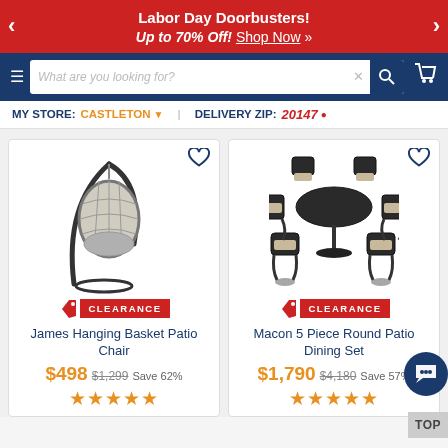Labor Day Doorbusters! Up to 70% Off! Shop Now »
[Figure (screenshot): Navigation bar with hamburger menu, search box, and cart icon]
MY STORE: CASTLETON ▾   DELIVERY ZIP: 20147 ▾
[Figure (photo): James Hanging Basket Patio Chair - gray wicker egg chair with cushion on black stand frame]
James Hanging Basket Patio Chair
$498  $1,299  Save 62%
★★★★★
[Figure (photo): Macon 5 Piece Round Patio Dining Set - round black metal table with 4 swivel chairs with tan cushions]
Macon 5 Piece Round Patio Dining Set
$1,790  $4,180  Save 57%
★★★★★